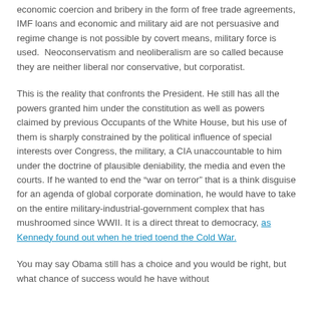economic coercion and bribery in the form of free trade agreements, IMF loans and economic and military aid are not persuasive and regime change is not possible by covert means, military force is used.  Neoconservatism and neoliberalism are so called because they are neither liberal nor conservative, but corporatist.
This is the reality that confronts the President. He still has all the powers granted him under the constitution as well as powers claimed by previous Occupants of the White House, but his use of them is sharply constrained by the political influence of special interests over Congress, the military, a CIA unaccountable to him under the doctrine of plausible deniability, the media and even the courts. If he wanted to end the “war on terror” that is a think disguise for an agenda of global corporate domination, he would have to take on the entire military-industrial-government complex that has mushroomed since WWII. It is a direct threat to democracy, as Kennedy found out when he tried toend the Cold War.
You may say Obama still has a choice and you would be right, but what chance of success would he have without